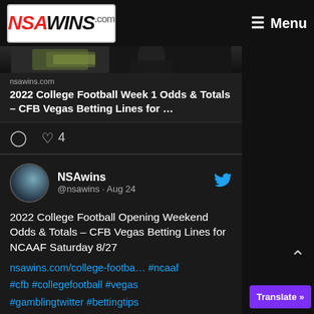NSAWins.com — Menu
[Figure (screenshot): Partially visible image strip at top of a shared link card showing money/cash]
nsawins.com
2022 College Football Week 1 Odds & Totals – CFB Vegas Betting Lines for …
♡ 4
NSAwins @nsawins · Aug 24
2022 College Football Opening Weekend Odds & Totals – CFB Vegas Betting Lines for NCAAF Saturday 8/27 nsawins.com/college-footba… #ncaaf #cfb #collegefootball #vegas #gamblingtwitter #bettingtips #collegefootballpicks #odds #sportsbetting #footballpicks #bettinglines #nca…